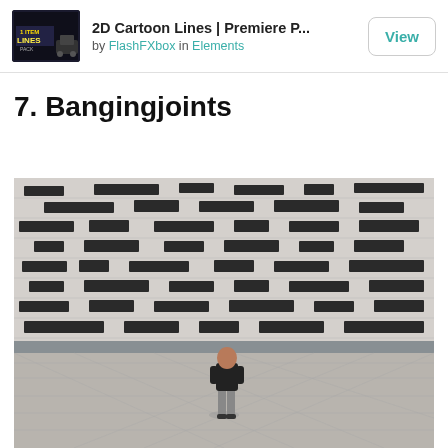[Figure (infographic): Advertisement banner for '2D Cartoon Lines | Premiere P...' by FlashFXbox in Elements, with a dark thumbnail showing 'LINES PACK' text and a View button]
7. Bangingjoints
[Figure (photo): A person wearing dark clothes standing in front of a large modern building facade with a grid-like pattern of horizontal rectangular windows/openings. The ground is a wide open plaza made of concrete/stone. The photo is in black and white tones.]